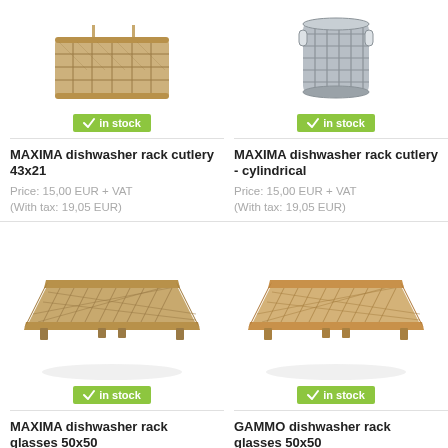[Figure (photo): MAXIMA dishwasher rack cutlery 43x21 - tan rectangular basket with dividers]
in stock
MAXIMA dishwasher rack cutlery 43x21
Price: 15,00 EUR + VAT
(With tax: 19,05 EUR)
[Figure (photo): MAXIMA dishwasher rack cutlery - cylindrical - gray cylindrical basket]
in stock
MAXIMA dishwasher rack cutlery - cylindrical
Price: 15,00 EUR + VAT
(With tax: 19,05 EUR)
[Figure (photo): MAXIMA dishwasher rack glasses 50x50 - tan flat grid rack]
in stock
MAXIMA dishwasher rack glasses 50x50
[Figure (photo): GAMMO dishwasher rack glasses 50x50 - tan flat grid rack]
in stock
GAMMO dishwasher rack glasses 50x50